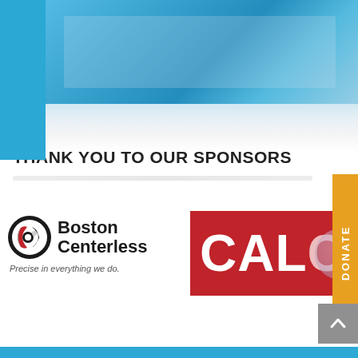[Figure (photo): Hero image of a blue-tinted workshop/manufacturing scene at the top of the page]
THANK YOU TO OUR SPONSORS
[Figure (logo): Boston Centerless logo with circular icon and tagline 'Precise in everything we do.']
[Figure (logo): Red banner with white text 'CALC' (partially visible) - CALCO company logo]
[Figure (other): Orange vertical DONATE tab on right side]
[Figure (other): Gray scroll-to-top button with up arrow chevron on right side]